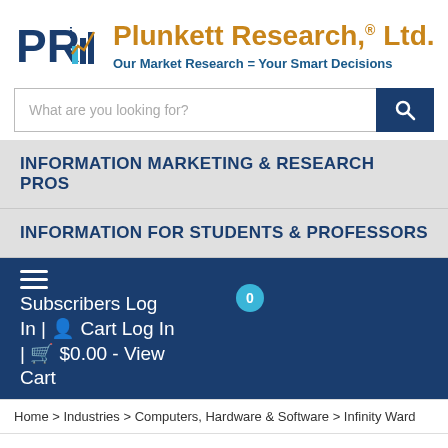[Figure (logo): Plunkett Research Ltd logo - PR letters with chart graph icon]
Plunkett Research,® Ltd.
Our Market Research = Your Smart Decisions
What are you looking for?
INFORMATION MARKETING & RESEARCH PROS
INFORMATION FOR STUDENTS & PROFESSORS
0 Subscribers Log In | Cart Log In | $0.00 - View Cart
Home > Industries > Computers, Hardware & Software > Infinity Ward
INFINITY WARD